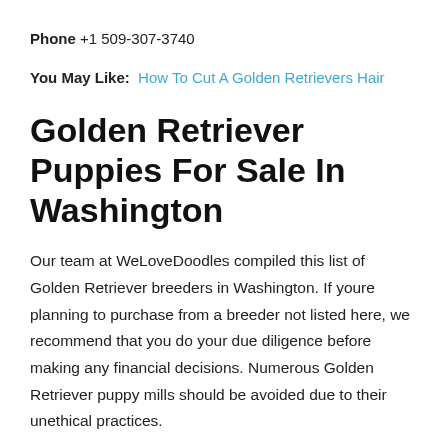Phone +1 509-307-3740
You May Like: How To Cut A Golden Retrievers Hair
Golden Retriever Puppies For Sale In Washington
Our team at WeLoveDoodles compiled this list of Golden Retriever breeders in Washington. If youre planning to purchase from a breeder not listed here, we recommend that you do your due diligence before making any financial decisions. Numerous Golden Retriever puppy mills should be avoided due to their unethical practices.
YOU CAN GET STARTED IN ADVANCE BY CHECKING OUR GOLDEN RETRIEVER